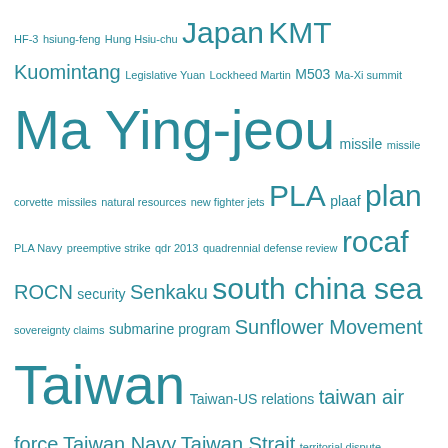HF-3 hsiung-feng Hung Hsiu-chu Japan KMT Kuomintang Legislative Yuan Lockheed Martin M503 Ma-Xi summit Ma Ying-jeou missile missile corvette missiles natural resources new fighter jets PLA plaaf plan PLA Navy preemptive strike qdr 2013 quadrennial defense review rocaf ROCN security Senkaku south china sea sovereignty claims submarine program Sunflower Movement Taiwan Taiwan-US relations taiwan air force Taiwan Navy Taiwan Strait territorial dispute territorial disputes The Philippines Tsai Ing-wen Tuo-Jiang upgrade US US-China relations US-Taiwan relations USA
FOLLOW BLOG VIA EMAIL
Enter your email address to follow this blog and receive notifications of new posts by email.
Join 971 other followers